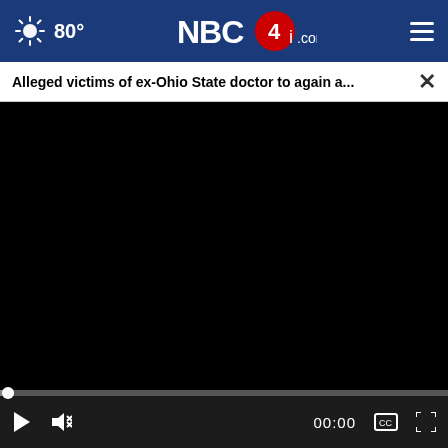[Figure (screenshot): NBC4i.com website navigation bar with weather icon showing sun and 80°F temperature on the left, NBC4i.com logo in the center, and hamburger menu icon on the right, on a dark blue background]
Alleged victims of ex-Ohio State doctor to again a...
[Figure (screenshot): Video player showing a black screen (video not loaded), with a progress bar and playback controls including play button, mute button, 00:00 timestamp, captions icon, and fullscreen icon on a dark control bar]
[Figure (photo): Partial photo visible at bottom showing two people (a woman with blonde hair and a man), with a Petco advertisement overlay]
[Figure (screenshot): Petco advertisement banner: 'Your Pet's Summer Essentials' with Petco logo and navigation arrow icon]